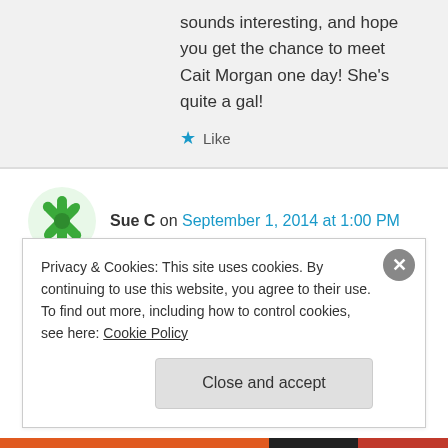sounds interesting, and hope you get the chance to meet Cait Morgan one day! She's quite a gal!
Like
Sue C on September 1, 2014 at 1:00 PM
Sounds like a good read.
Liked by 1 person
Privacy & Cookies: This site uses cookies. By continuing to use this website, you agree to their use. To find out more, including how to control cookies, see here: Cookie Policy
Close and accept